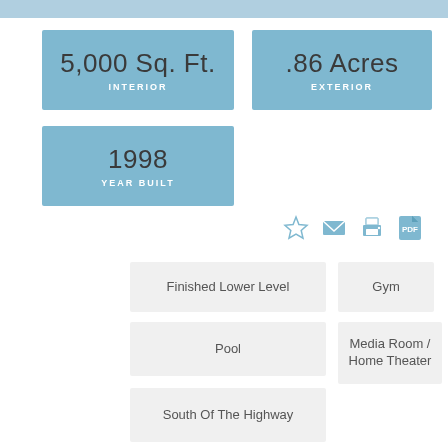5,000 Sq. Ft. INTERIOR
.86 Acres EXTERIOR
1998 YEAR BUILT
Finished Lower Level
Gym
Pool
Media Room / Home Theater
South Of The Highway